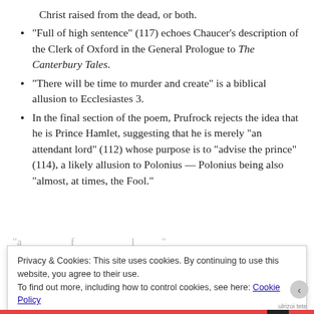Christ raised from the dead, or both.
“Full of high sentence” (117) echoes Chaucer’s description of the Clerk of Oxford in the General Prologue to The Canterbury Tales.
“There will be time to murder and create” is a biblical allusion to Ecclesiastes 3.
In the final section of the poem, Prufrock rejects the idea that he is Prince Hamlet, suggesting that he is merely “an attendant lord” (112) whose purpose is to “advise the prince” (114), a likely allusion to Polonius — Polonius being also “almost, at times, the Fool.”
Privacy & Cookies: This site uses cookies. By continuing to use this website, you agree to their use.
To find out more, including how to control cookies, see here: Cookie Policy
Close and accept